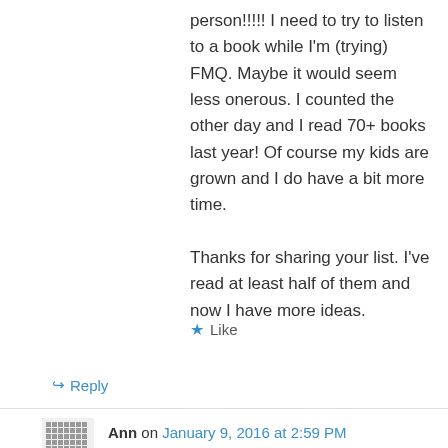person!!!!! I need to try to listen to a book while I'm (trying) FMQ. Maybe it would seem less onerous. I counted the other day and I read 70+ books last year! Of course my kids are grown and I do have a bit more time.

Thanks for sharing your list. I've read at least half of them and now I have more ideas.
Like
Reply
Ann on January 9, 2016 at 2:59 PM
Elena Ferrante's books. There are four in the series about Naples starting with My Brilliant Friend. I LOVE them. Descriptions of childhood